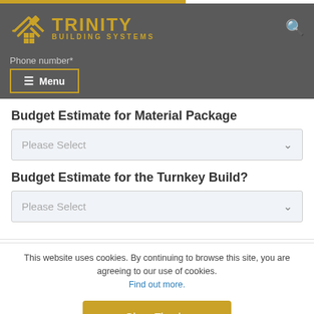[Figure (logo): Trinity Building Systems logo with gold house/hammer icon and gold text]
Phone number*
≡ Menu
Budget Estimate for Material Package
Please Select
Budget Estimate for the Turnkey Build?
Please Select
This website uses cookies. By continuing to browse this site, you are agreeing to our use of cookies. Find out more.
Okay, Thanks